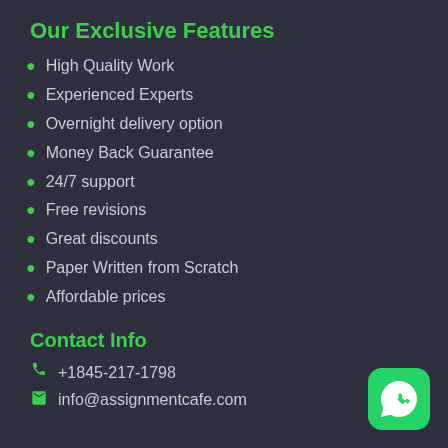Our Exclusive Features
High Quality Work
Experienced Experts
Overnight delivery option
Money Back Guarantee
24/7 support
Free revisions
Great discounts
Paper Written from Scratch
Affordable prices
Contact Info
+1845-217-1798
info@assignmentcafe.com